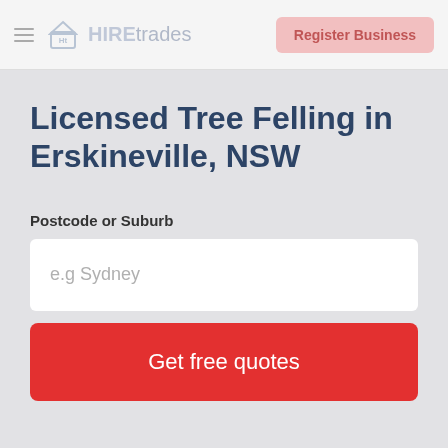HIREtrades | Register Business
Licensed Tree Felling in Erskineville, NSW
Postcode or Suburb
e.g Sydney
Get free quotes